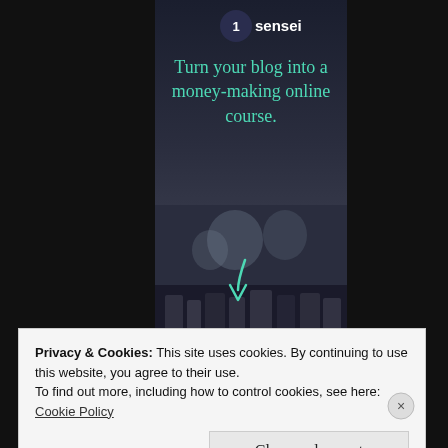[Figure (screenshot): Advertisement banner from 'Sensei' showing a dark themed panel with logo at top, teal/mint colored headline text reading 'Turn your blog into a money-making online course.' over a dark background with a blurred musical instrument photo at bottom with a teal arrow pointing downward.]
Privacy & Cookies: This site uses cookies. By continuing to use this website, you agree to their use.
To find out more, including how to control cookies, see here:
Cookie Policy
Close and accept